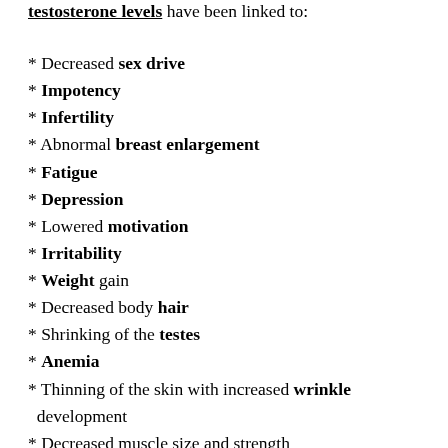testosterone levels have been linked to:
* Decreased sex drive
* Impotency
* Infertility
* Abnormal breast enlargement
* Fatigue
* Depression
* Lowered motivation
* Irritability
* Weight gain
* Decreased body hair
* Shrinking of the testes
* Anemia
* Thinning of the skin with increased wrinkle development
* Decreased muscle size and strength